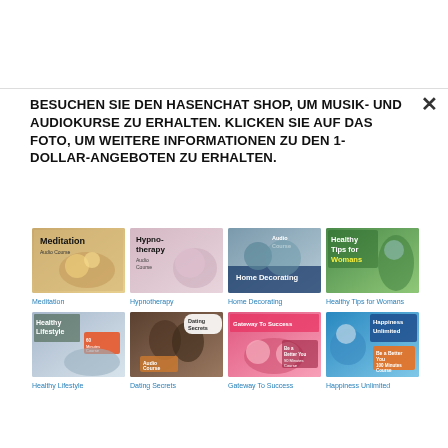BESUCHEN SIE DEN HASENCHAT SHOP, UM MUSIK- UND AUDIOKURSE ZU ERHALTEN. KLICKEN SIE AUF DAS FOTO, UM WEITERE INFORMATIONEN ZU DEN 1-DOLLAR-ANGEBOTEN ZU ERHALTEN.
[Figure (illustration): Thumbnail image for Meditation audio course]
Meditation
[Figure (illustration): Thumbnail image for Hypnotherapy audio course]
Hypnotherapy
[Figure (illustration): Thumbnail image for Home Decorating audio course]
Home Decorating
[Figure (illustration): Thumbnail image for Healthy Tips for Womans audio course]
Healthy Tips for Womans
[Figure (illustration): Thumbnail image for Healthy Lifestyle audio course]
Healthy Lifestyle
[Figure (illustration): Thumbnail image for Dating Secrets audio course]
Dating Secrets
[Figure (illustration): Thumbnail image for Gateway To Success audio course]
Gateway To Success
[Figure (illustration): Thumbnail image for Happiness Unlimited audio course]
Happiness Unlimited